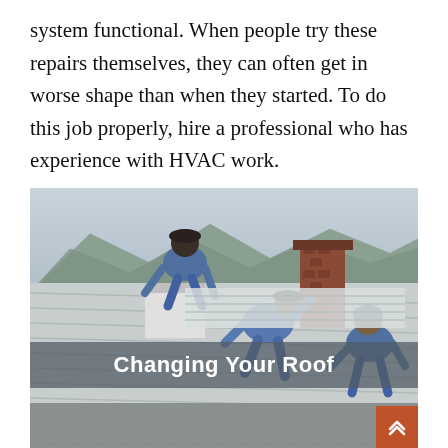system functional. When people try these repairs themselves, they can often get in worse shape than when they started. To do this job properly, hire a professional who has experience with HVAC work.
[Figure (photo): Three workers in blue jackets working on a rooftop, laying metal roofing panels. Mountains visible in background. A semi-transparent banner overlay reads 'Changing Your Roof'. An orange button with chevron arrows is in the bottom right corner.]